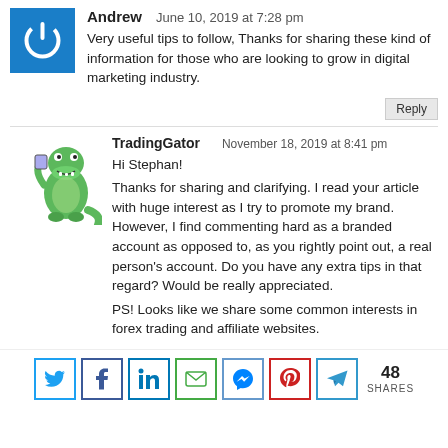[Figure (illustration): Blue square with white power/on button icon — avatar for commenter Andrew]
Andrew
June 10, 2019 at 7:28 pm
Very useful tips to follow, Thanks for sharing these kind of information for those who are looking to grow in digital marketing industry.
Reply
[Figure (illustration): Cartoon green alligator/gator mascot holding a device — avatar for commenter TradingGator]
TradingGator
November 18, 2019 at 8:41 pm
Hi Stephan!
Thanks for sharing and clarifying. I read your article with huge interest as I try to promote my brand. However, I find commenting hard as a branded account as opposed to, as you rightly point out, a real person's account. Do you have any extra tips in that regard? Would be really appreciated.
PS! Looks like we share some common interests in forex trading and affiliate websites.
[Figure (infographic): Social share bar with Twitter, Facebook, LinkedIn, Email, Messenger, Pinterest, Telegram icons and 48 SHARES count]